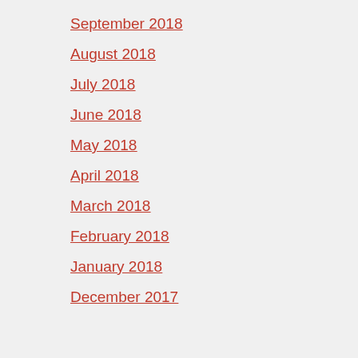October 2018
September 2018
August 2018
July 2018
June 2018
May 2018
April 2018
March 2018
February 2018
January 2018
December 2017